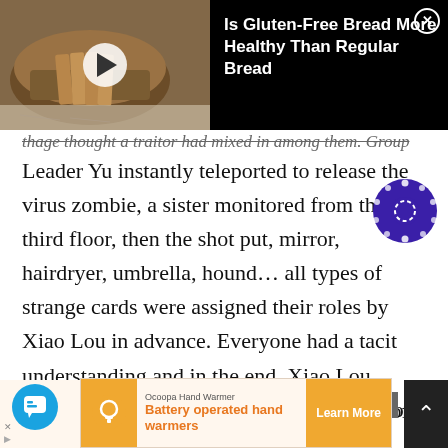[Figure (screenshot): Video overlay banner showing a photo of sliced bread with a play button, title 'Is Gluten-Free Bread More Healthy Than Regular Bread', and a close X button on black background]
thage thought a traitor had mixed in among them. Group Leader Yu instantly teleported to release the virus zombie, a sister monitored from the third floor, then the shot put, mirror, hairdryer, umbrella, hound… all types of strange cards were assigned their roles by Xiao Lou in advance. Everyone had a tacit understanding and in the end, Xiao Lou summoned the zombie leader to take care of the zombies!
1
The entire process was thrilling and none of
[Figure (screenshot): Bottom advertisement banner: Ocoopa Hand Warmer 'Battery operated hand warmers' with Learn More button, and a scroll-to-top button]